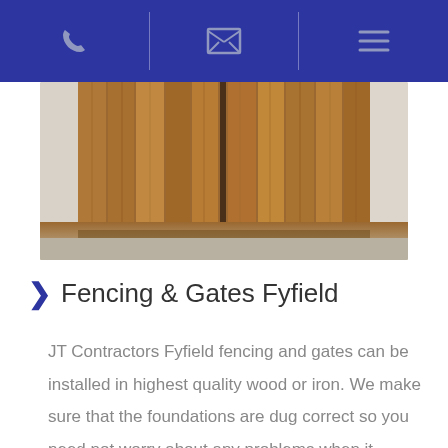[navigation bar with phone, email, and menu icons]
[Figure (photo): Wooden fence/gate installation with white posts on left and right, brown vertical timber boards in center, viewed from close up showing the base and driveway area]
Fencing & Gates Fyfield
JT Contractors Fyfield fencing and gates can be installed in highest quality wood or iron. We make sure that the foundations are dug correct so you need not worry about any problems when it comes to the harsher British elements.
We can supply all of the necessary materials at great prices allowing our clients to benefit from a cost